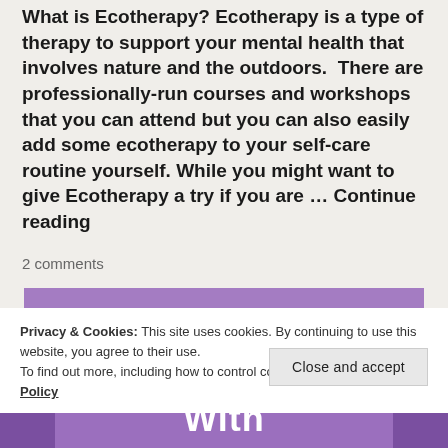What is Ecotherapy? Ecotherapy is a type of therapy to support your mental health that involves nature and the outdoors. There are professionally-run courses and workshops that you can attend but you can also easily add some ecotherapy to your self-care routine yourself. While you might want to give Ecotherapy a try if you are … Continue reading
2 comments
Privacy & Cookies: This site uses cookies. By continuing to use this website, you agree to their use. To find out more, including how to control cookies, see here: Cookie Policy
Close and accept
With